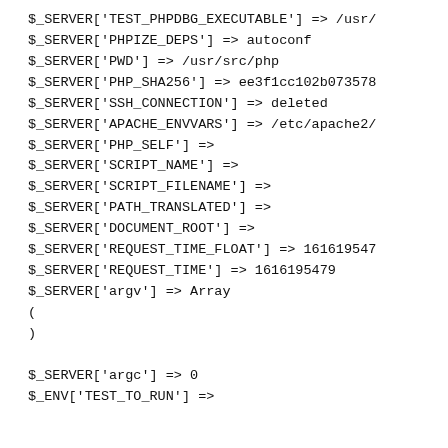$_SERVER['TEST_PHPDBG_EXECUTABLE'] => /usr/
$_SERVER['PHPIZE_DEPS'] => autoconf
$_SERVER['PWD'] => /usr/src/php
$_SERVER['PHP_SHA256'] => ee3f1cc102b073578
$_SERVER['SSH_CONNECTION'] => deleted
$_SERVER['APACHE_ENVVARS'] => /etc/apache2/
$_SERVER['PHP_SELF'] =>
$_SERVER['SCRIPT_NAME'] =>
$_SERVER['SCRIPT_FILENAME'] =>
$_SERVER['PATH_TRANSLATED'] =>
$_SERVER['DOCUMENT_ROOT'] =>
$_SERVER['REQUEST_TIME_FLOAT'] => 161619547
$_SERVER['REQUEST_TIME'] => 1616195479
$_SERVER['argv'] => Array
(
)

$_SERVER['argc'] => 0
$_ENV['TEST_TO_RUN'] =>